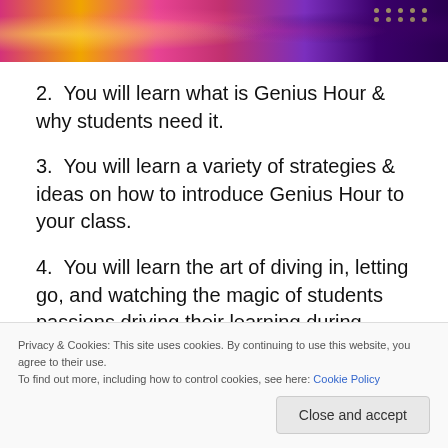[Figure (photo): Colorful photo strip showing flowers and a person in decorative attire, cropped at top of page]
2.  You will learn what is Genius Hour & why students need it.
3.  You will learn a variety of strategies & ideas on how to introduce Genius Hour to your class.
4.  You will learn the art of diving in, letting go, and watching the magic of students passions driving their learning during Genius Hour.   This the authors outline
Privacy & Cookies: This site uses cookies. By continuing to use this website, you agree to their use.
To find out more, including how to control cookies, see here: Cookie Policy
Close and accept